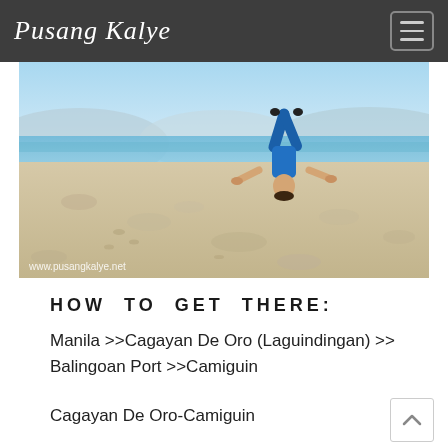Pusang Kalye
[Figure (photo): Person doing a handstand on a white sandy beach with blue water and mountains in the background. Watermark: www.pusangkalye.net]
HOW TO GET THERE:
Manila >>Cagayan De Oro (Laguindingan) >> Balingoan Port >>Camiguin
Cagayan De Oro-Camiguin